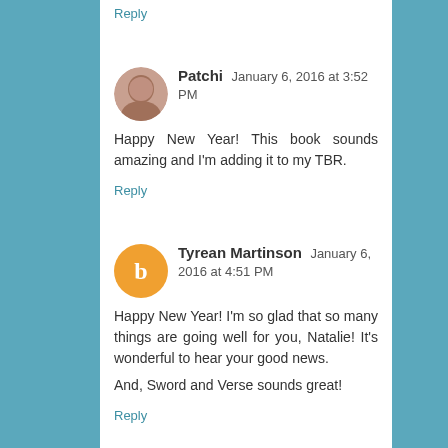Reply
Patchi  January 6, 2016 at 3:52 PM
Happy New Year! This book sounds amazing and I'm adding it to my TBR.
Reply
Tyrean Martinson  January 6, 2016 at 4:51 PM
Happy New Year! I'm so glad that so many things are going well for you, Natalie! It's wonderful to hear your good news.
And, Sword and Verse sounds great!
Reply
Denise Covey  January 6, 2016 at 6:37 PM